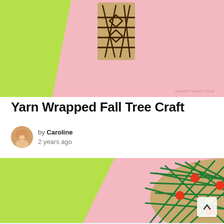[Figure (photo): Craft project photo on pink background with green paper and yarn-wrapped cardboard piece with dark brown yarn cross pattern]
Yarn Wrapped Fall Tree Craft
by Caroline
2 years ago
[Figure (photo): A cardboard circle wrapped with green yarn and decorated with red pom-poms to look like a fall tree, placed on a green and pink paper background]
[Figure (photo): Partial view of a light blue snowflake-like craft on a light pink and white background at the bottom of the page]